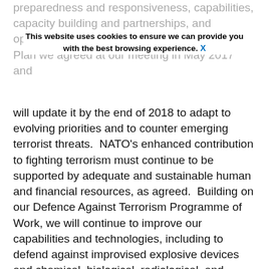preparedness and responsiveness, capabilities, capacity building and partnerships, and operations. We will fully implement the Action Plan we agreed at our meeting in May 2017 and
This website uses cookies to ensure we can provide you with the best browsing experience. X
will update it by the end of 2018 to adapt to evolving priorities and to counter emerging terrorist threats.  NATO's enhanced contribution to fighting terrorism must continue to be supported by adequate and sustainable human and financial resources, as agreed.  Building on our Defence Against Terrorism Programme of Work, we will continue to improve our capabilities and technologies, including to defend against improvised explosive devices and chemical, biological, radiological, and nuclear (CBRN) threats, and to counter terrorist misuse of technology.  We have agreed a new biometric data policy which, consistent with applicable national and international law and subject to national requirements and restrictions, will further support